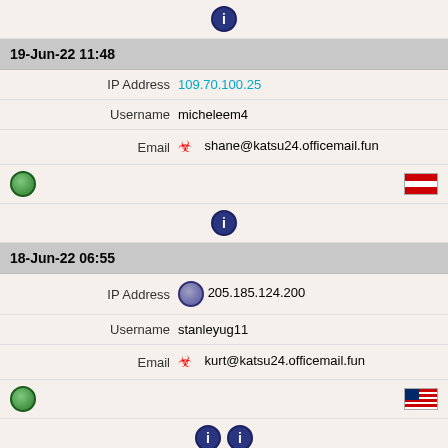| (icon row) | info icon |
| 19-Jun-22 11:48 |  |
| IP Address | 109.70.100.25 |
| Username | micheleem4 |
| Email | shane@katsu24.officemail.fun |
| (globe + AT flag) |  |
| (info icon) |  |
| 18-Jun-22 06:55 |  |
| IP Address | 205.185.124.200 |
| Username | stanleyug11 |
| Email | kurt@katsu24.officemail.fun |
| (globe + US flag) |  |
| (info icon x2) |  |
| 16-Jun-22 20:09 |  |
| IP Address | 185.220.100.254 |
| Username | vincentoq2 |
| Email | lilb@katsu24.officemail.fun |